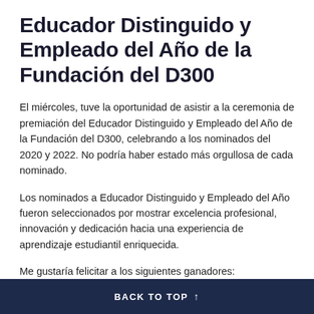Educador Distinguido y Empleado del Año de la Fundación del D300
El miércoles, tuve la oportunidad de asistir a la ceremonia de premiación del Educador Distinguido y Empleado del Año de la Fundación del D300, celebrando a los nominados del 2020 y 2022. No podría haber estado más orgullosa de cada nominado.
Los nominados a Educador Distinguido y Empleado del Año fueron seleccionados por mostrar excelencia profesional, innovación y dedicación hacia una experiencia de aprendizaje estudiantil enriquecida.
Me gustaría felicitar a los siguientes ganadores:
BACK TO TOP ↑